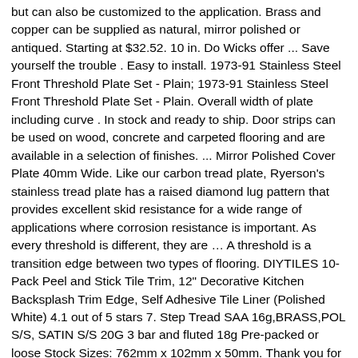but can also be customized to the application. Brass and copper can be supplied as natural, mirror polished or antiqued. Starting at $32.52. 10 in. Do Wicks offer ... Save yourself the trouble . Easy to install. 1973-91 Stainless Steel Front Threshold Plate Set - Plain; 1973-91 Stainless Steel Front Threshold Plate Set - Plain. Overall width of plate including curve . In stock and ready to ship. Door strips can be used on wood, concrete and carpeted flooring and are available in a selection of finishes. ... Mirror Polished Cover Plate 40mm Wide. Like our carbon tread plate, Ryerson's stainless tread plate has a raised diamond lug pattern that provides excellent skid resistance for a wide range of applications where corrosion resistance is important. As every threshold is different, they are … A threshold is a transition edge between two types of flooring. DIYTILES 10-Pack Peel and Stick Tile Trim, 12" Decorative Kitchen Backsplash Trim Edge, Self Adhesive Tile Liner (Polished White) 4.1 out of 5 stars 7. Step Tread SAA 16g,BRASS,POL S/S, SATIN S/S 20G 3 bar and fluted 18g Pre-packed or loose Stock Sizes: 762mm x 102mm x 50mm. Thank you for subscribing to the newsletter! Standard Cab & Crew Cab. A threshold cover or step nosing, is a metal plate that fits over the front door threshold to protect it from wear and tear. Stainless steel threshold plates … 304 Stainless Sheet offers good corrosion resistance to many chemical corrodents as well as industrial atmospheres and marine environments. Specifications: AISI 304/304L, ASTM A240.